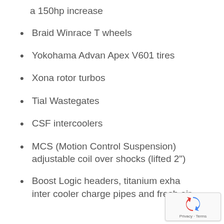a 150hp increase
Braid Winrace T wheels
Yokohama Advan Apex V601 tires
Xona rotor turbos
Tial Wastegates
CSF intercoolers
MCS (Motion Control Suspension) adjustable coil over shocks (lifted 2")
Boost Logic headers, titanium exhaust inter cooler charge pipes and fresh air…